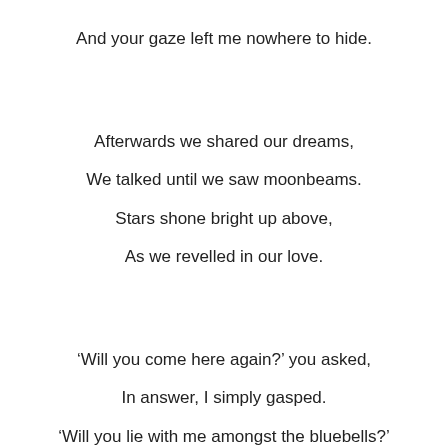And your gaze left me nowhere to hide.
Afterwards we shared our dreams,
We talked until we saw moonbeams.
Stars shone bright up above,
As we revelled in our love.
‘Will you come here again?’ you asked,
In answer, I simply gasped.
‘Will you lie with me amongst the bluebells?’